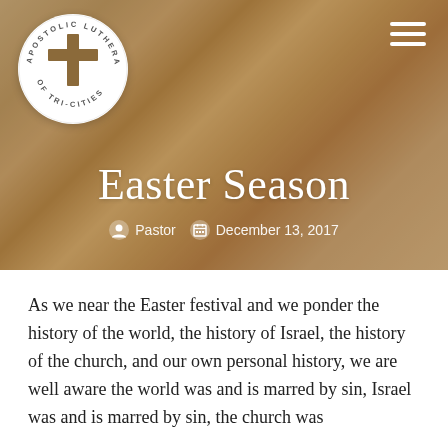[Figure (logo): Apostolic Lutheran Church of Tri-Cities circular logo with a cross in the center]
Easter Season
Pastor   December 13, 2017
As we near the Easter festival and we ponder the history of the world, the history of Israel, the history of the church, and our own personal history, we are well aware the world was and is marred by sin, Israel was and is marred by sin, the church was